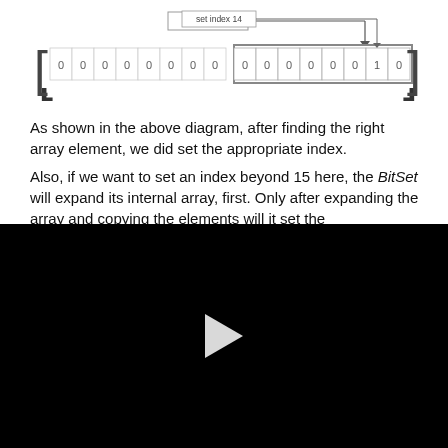[Figure (engineering-diagram): Diagram showing a bit array with two groups of 8 cells. First group: [0,0,0,0,0,0,0,0], second group highlighted with border: [0,0,0,0,0,0,1,0]. An arrow labeled 'set index 14' points down to the second-to-last cell of the second group which contains 1.]
As shown in the above diagram, after finding the right array element, we did set the appropriate index.
Also, if we want to set an index beyond 15 here, the BitSet will expand its internal array, first. Only after expanding the array and copying the elements will it set the